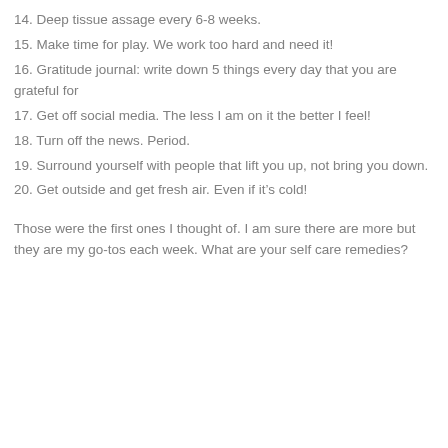14. Deep tissue assage every 6-8 weeks.
15. Make time for play. We work too hard and need it!
16. Gratitude journal: write down 5 things every day that you are grateful for
17. Get off social media. The less I am on it the better I feel!
18. Turn off the news. Period.
19. Surround yourself with people that lift you up, not bring you down.
20. Get outside and get fresh air. Even if it’s cold!
Those were the first ones I thought of. I am sure there are more but they are my go-tos each week. What are your self care remedies?